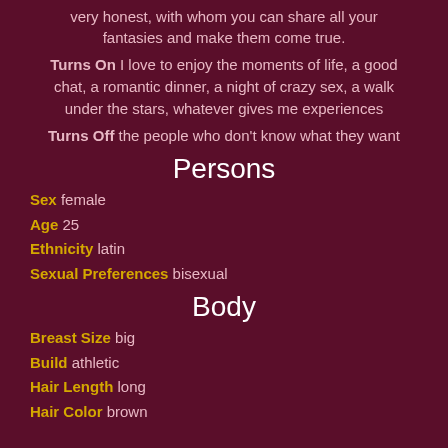very honest, with whom you can share all your fantasies and make them come true.
Turns On I love to enjoy the moments of life, a good chat, a romantic dinner, a night of crazy sex, a walk under the stars, whatever gives me experiences
Turns Off the people who don't know what they want
Persons
Sex female
Age 25
Ethnicity latin
Sexual Preferences bisexual
Body
Breast Size big
Build athletic
Hair Length long
Hair Color brown